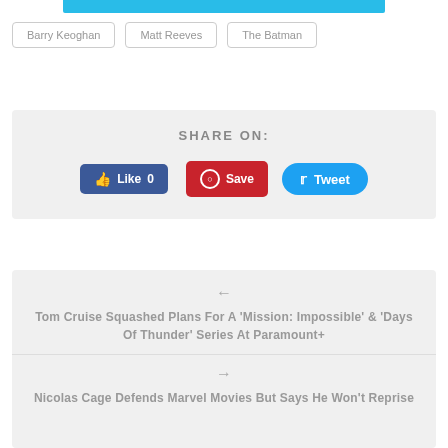[Figure (other): Cyan/blue horizontal bar at top of page]
Barry Keoghan
Matt Reeves
The Batman
SHARE ON:
[Figure (screenshot): Facebook Like button showing 'Like 0', Pinterest Save button, and Twitter Tweet button]
Tom Cruise Squashed Plans For A 'Mission: Impossible' & 'Days Of Thunder' Series At Paramount+
Nicolas Cage Defends Marvel Movies But Says He Won't Reprise Ghost Rider In Disney+ Streaming Sh...